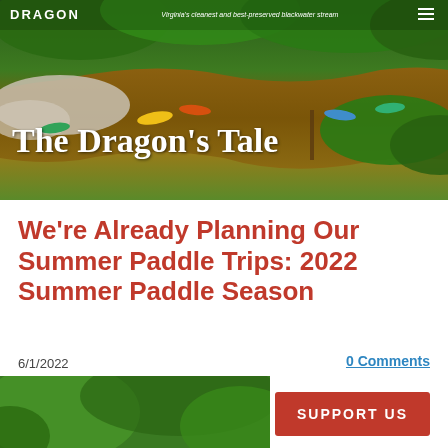DRAGON — Virginia's cleanest and best-preserved blackwater stream
[Figure (photo): Aerial view of kayakers paddling on a brown/amber river surrounded by green trees and rocky shoreline, with the overlay title 'The Dragon's Tale']
We're Already Planning Our Summer Paddle Trips: 2022 Summer Paddle Season
6/1/2022
0 Comments
[Figure (photo): Partial view of green forested area at the bottom of the page]
SUPPORT US